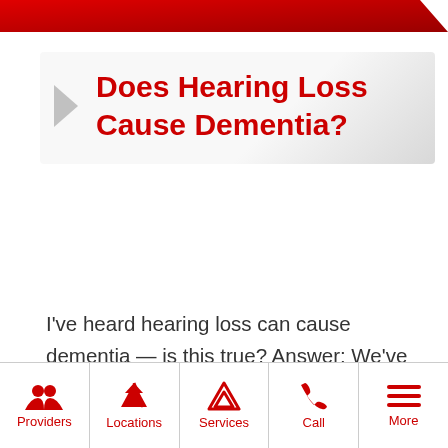Does Hearing Loss Cause Dementia?
I've heard hearing loss can cause dementia — is this true? Answer: We've been hearing this question quite a bit recently due to a study published in January that's been in the news. The simple answer is: maybe. The findings reported by a researcher at Johns Hopkins University showed that in a group
Providers | Locations | Services | Call | More